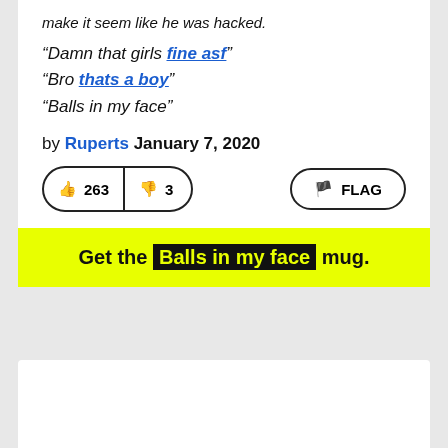make it seem like he was hacked.
“Damn that girls fine asf”
“Bro thats a boy”
“Balls in my face”
by Ruperts January 7, 2020
[Figure (other): Vote buttons: thumbs up 263, thumbs down 3, and a FLAG button]
Get the Balls in my face mug.